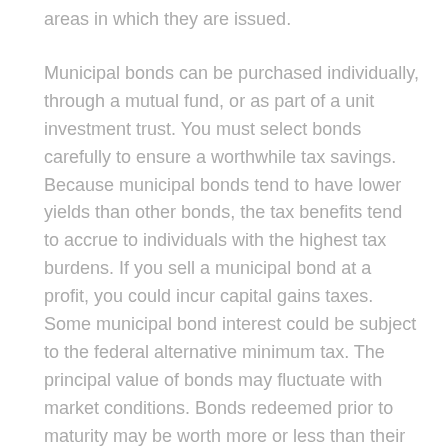areas in which they are issued.
Municipal bonds can be purchased individually, through a mutual fund, or as part of a unit investment trust. You must select bonds carefully to ensure a worthwhile tax savings. Because municipal bonds tend to have lower yields than other bonds, the tax benefits tend to accrue to individuals with the highest tax burdens. If you sell a municipal bond at a profit, you could incur capital gains taxes. Some municipal bond interest could be subject to the federal alternative minimum tax. The principal value of bonds may fluctuate with market conditions. Bonds redeemed prior to maturity may be worth more or less than their original cost. Investments seeking to achieve higher yields also involve a higher degree of risk. Bond mutual funds are subject to the same inflation, interest-rate, and credit risks associated with their underlying bonds. As interest rates rise, bond prices typically fall, which can adversely affect a bond fund's performance.